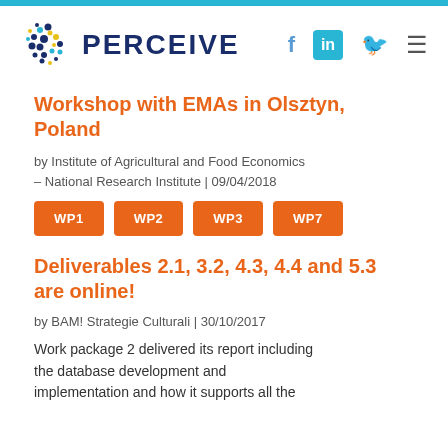PERCEIVE
Workshop with EMAs in Olsztyn, Poland
by Institute of Agricultural and Food Economics – National Research Institute | 09/04/2018
WP1
WP2
WP3
WP7
Deliverables 2.1, 3.2, 4.3, 4.4 and 5.3 are online!
by BAM! Strategie Culturali | 30/10/2017
Work package 2 delivered its report including the database development and implementation and how it supports all the